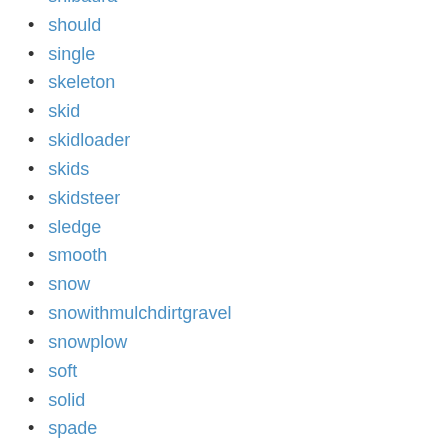shibaura
should
single
skeleton
skid
skidloader
skids
skidsteer
sledge
smooth
snow
snowithmulchdirtgravel
snowplow
soft
solid
spade
spark
starter
steel
stuck
stump
super